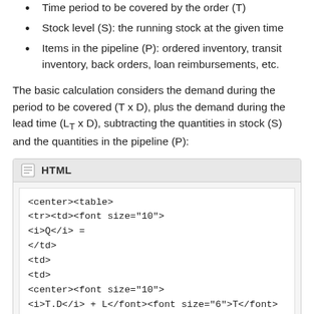Time period to be covered by the order (T)
Stock level (S): the running stock at the given time
Items in the pipeline (P): ordered inventory, transit inventory, back orders, loan reimbursements, etc.
The basic calculation considers the demand during the period to be covered (T x D), plus the demand during the lead time (L_T x D), subtracting the quantities in stock (S) and the quantities in the pipeline (P):
[Figure (screenshot): HTML code block showing a table formula for Q using HTML tags with center, table, tr, td, font, and italic elements.]